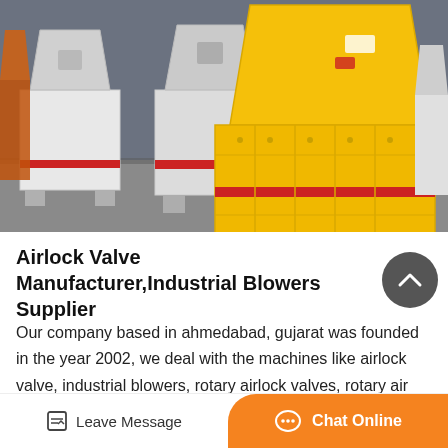[Figure (photo): Industrial machinery photo showing yellow and white impact crushers/hammer mills lined up on a concrete floor. The prominent machine in the foreground is bright yellow with red accent stripe, with white machines visible behind it.]
Airlock Valve Manufacturer,Industrial Blowers Supplier
Our company based in ahmedabad, gujarat was founded in the year 2002, we deal with the machines like airlock valve, industrial blowers, rotary airlock valves, rotary air valves, ash handling system, belt conveyor, coal crusher, screw conveyor, etc. the…